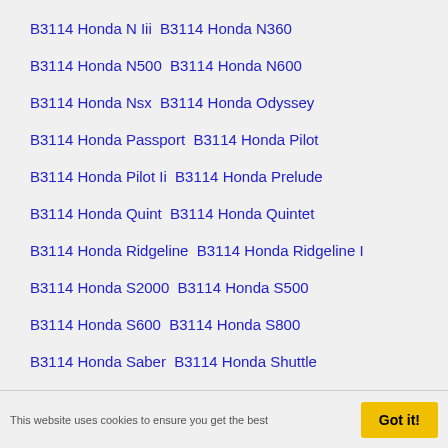B3114 Honda N Iii  B3114 Honda N360
B3114 Honda N500  B3114 Honda N600
B3114 Honda Nsx  B3114 Honda Odyssey
B3114 Honda Passport  B3114 Honda Pilot
B3114 Honda Pilot Ii  B3114 Honda Prelude
B3114 Honda Quint  B3114 Honda Quintet
B3114 Honda Ridgeline  B3114 Honda Ridgeline I
B3114 Honda S2000  B3114 Honda S500
B3114 Honda S600  B3114 Honda S800
B3114 Honda Saber  B3114 Honda Shuttle
B3114 Honda Sm-x  B3114 Honda S-mx
This website uses cookies to ensure you get the best